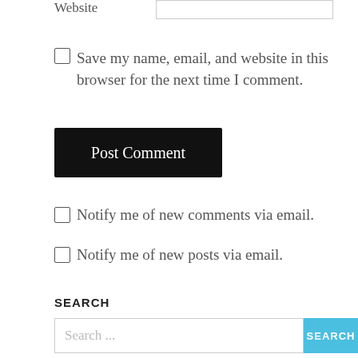Website
Save my name, email, and website in this browser for the next time I comment.
Post Comment
Notify me of new comments via email.
Notify me of new posts via email.
SEARCH
Search ...